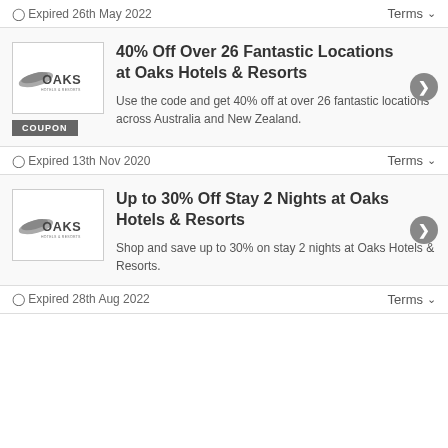🕐 Expired 26th May 2022
Terms ∨
40% Off Over 26 Fantastic Locations at Oaks Hotels & Resorts
COUPON
Use the code and get 40% off at over 26 fantastic locations across Australia and New Zealand.
🕐 Expired 13th Nov 2020
Terms ∨
Up to 30% Off Stay 2 Nights at Oaks Hotels & Resorts
Shop and save up to 30% on stay 2 nights at Oaks Hotels & Resorts.
🕐 Expired 28th Aug 2022
Terms ∨